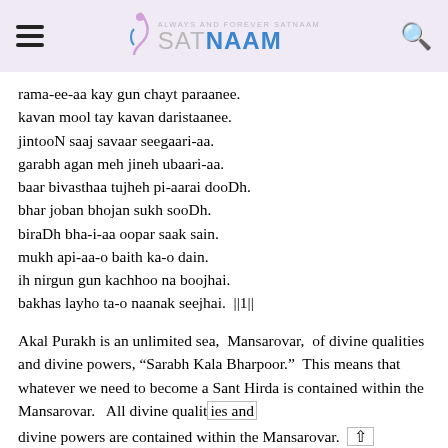ALWAYS AND FOREVER SATNAAM — SATNAAM logo with hamburger menu and search icon
rama-ee-aa kay gun chayt paraanee.
kavan mool tay kavan daristaanee.
jintooN saaj savaar seegaari-aa.
garabh agan meh jineh ubaari-aa.
baar bivasthaa tujheh pi-aarai dooDh.
bhar joban bhojan sukh sooDh.
biraDh bha-i-aa oopar saak sain.
mukh api-aa-o baith ka-o dain.
ih nirgun gun kachhoo na boojhai.
bakhas layho ta-o naanak seejhai. ||1||
Akal Purakh is an unlimited sea, Mansarovar, of divine qualities and divine powers, "Sarabh Kala Bharpoor." This means that whatever we need to become a Sant Hirda is contained within the Mansarovar. All divine qualities and divine powers are contained within the Mansarovar. This Mansarovar is the Origin from where our soul has been created. By virtue of this Akal Purakh becomes the owner